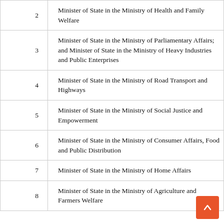| # | Position |
| --- | --- |
| 2 | Minister of State in the Ministry of Health and Family Welfare |
| 3 | Minister of State in the Ministry of Parliamentary Affairs; and Minister of State in the Ministry of Heavy Industries and Public Enterprises |
| 4 | Minister of State in the Ministry of Road Transport and Highways |
| 5 | Minister of State in the Ministry of Social Justice and Empowerment |
| 6 | Minister of State in the Ministry of Consumer Affairs, Food and Public Distribution |
| 7 | Minister of State in the Ministry of Home Affairs |
| 8 | Minister of State in the Ministry of Agriculture and Farmers Welfare |